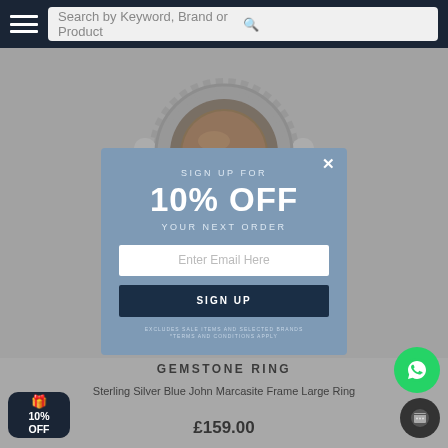Search by Keyword, Brand or Product
[Figure (photo): Photo of a sterling silver gemstone ring with blue john and marcasite frame, silver band with decorative beaded border around an oval brown/amber stone, photographed against grey background]
SIGN UP FOR
10% OFF
YOUR NEXT ORDER
Enter Email Here
SIGN UP
EXCLUDES SALE ITEMS AND SELECTED BRANDS *TERMS AND CONDITIONS APPLY
GEMSTONE RING
Sterling Silver Blue John Marcasite Frame Large Ring
£159.00